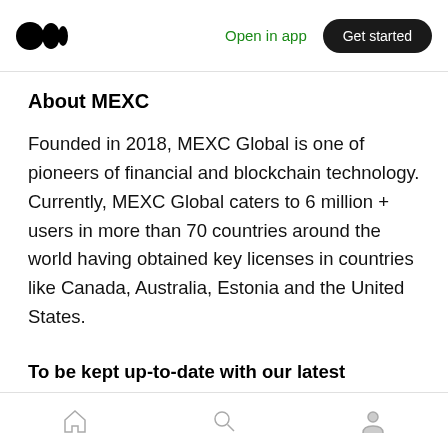Open in app  Get started
About MEXC
Founded in 2018, MEXC Global is one of pioneers of financial and blockchain technology. Currently, MEXC Global caters to 6 million + users in more than 70 countries around the world having obtained key licenses in countries like Canada, Australia, Estonia and the United States.
To be kept up-to-date with our latest announcements follow us on telegram and
Home  Search  Profile